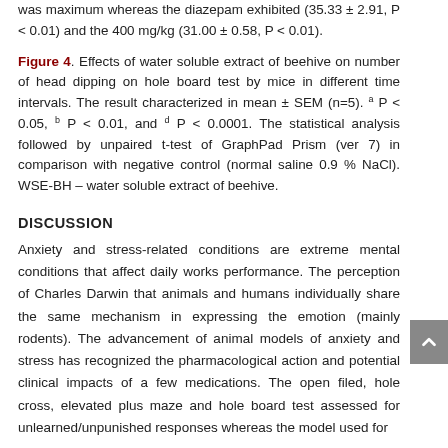was maximum whereas the diazepam exhibited (35.33 ± 2.91, P < 0.01) and the 400 mg/kg (31.00 ± 0.58, P < 0.01).
Figure 4. Effects of water soluble extract of beehive on number of head dipping on hole board test by mice in different time intervals. The result characterized in mean ± SEM (n=5). a P < 0.05, b P < 0.01, and d P < 0.0001. The statistical analysis followed by unpaired t-test of GraphPad Prism (ver 7) in comparison with negative control (normal saline 0.9 % NaCl). WSE-BH – water soluble extract of beehive.
DISCUSSION
Anxiety and stress-related conditions are extreme mental conditions that affect daily works performance. The perception of Charles Darwin that animals and humans individually share the same mechanism in expressing the emotion (mainly rodents). The advancement of animal models of anxiety and stress has recognized the pharmacological action and potential clinical impacts of a few medications. The open filed, hole cross, elevated plus maze and hole board test assessed for unlearned/unpunished responses whereas the model used for